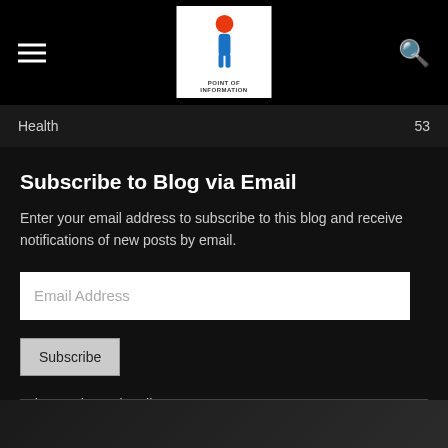Health  53
Subscribe to Blog via Email
Enter your email address to subscribe to this blog and receive notifications of new posts by email.
Email Address
Subscribe
Join 38 other subscribers.